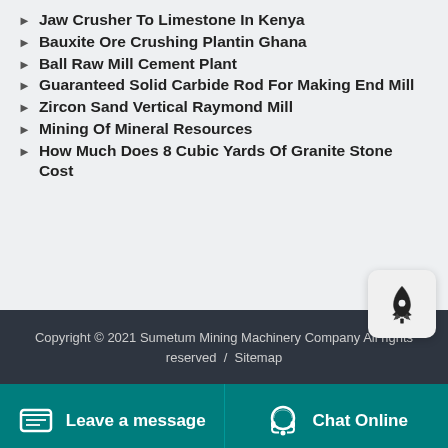Jaw Crusher To Limestone In Kenya
Bauxite Ore Crushing Plantin Ghana
Ball Raw Mill Cement Plant
Guaranteed Solid Carbide Rod For Making End Mill
Zircon Sand Vertical Raymond Mill
Mining Of Mineral Resources
How Much Does 8 Cubic Yards Of Granite Stone Cost
Copyright © 2021 Sumetum Mining Machinery Company All rights reserved / Sitemap
Leave a message   Chat Online